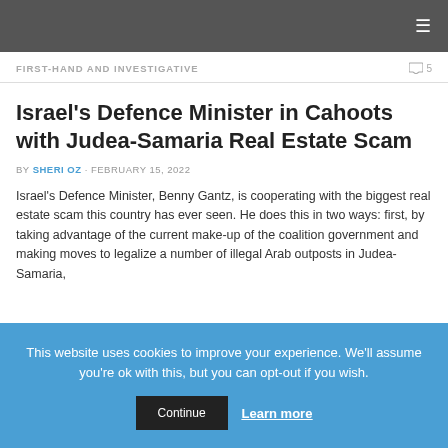☰ (navigation menu)
FIRST-HAND AND INVESTIGATIVE  💬 5
Israel's Defence Minister in Cahoots with Judea-Samaria Real Estate Scam
BY SHERI OZ · FEBRUARY 15, 2022
Israel's Defence Minister, Benny Gantz, is cooperating with the biggest real estate scam this country has ever seen. He does this in two ways: first, by taking advantage of the current make-up of the coalition government and making moves to legalize a number of illegal Arab outposts in Judea-Samaria,
This website uses cookies to improve your experience. We'll assume you're ok with this, but you can opt-out if you wish. Continue  Learn more